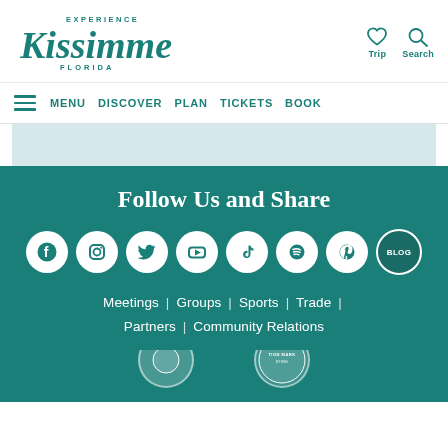[Figure (logo): Experience Kissimmee Florida logo in teal]
[Figure (infographic): Heart/Trip icon and Search/magnifying glass icon in teal]
MENU  DISCOVER  PLAN  TICKETS  BOOK
Follow Us and Share
[Figure (infographic): Social media icons row: Facebook, Instagram, Twitter, YouTube, TikTok, Spotify, Pinterest, Blog]
Meetings | Groups | Sports | Trade | Partners | Community Relations
[Figure (infographic): Bottom badges/logos partially visible]